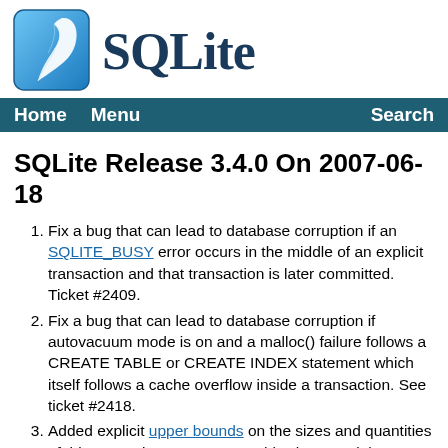[Figure (logo): SQLite logo: blue square with white feather icon and 'SQLite' text in dark blue serif font]
Home   Menu   Search
SQLite Release 3.4.0 On 2007-06-18
Fix a bug that can lead to database corruption if an SQLITE_BUSY error occurs in the middle of an explicit transaction and that transaction is later committed. Ticket #2409.
Fix a bug that can lead to database corruption if autovacuum mode is on and a malloc() failure follows a CREATE TABLE or CREATE INDEX statement which itself follows a cache overflow inside a transaction. See ticket #2418.
Added explicit upper bounds on the sizes and quantities of things SQLite can process. This change might cause compatibility problems for applications that use SQLite in the extreme, which is why the current release is 3.4.0 instead of 3.3.18.